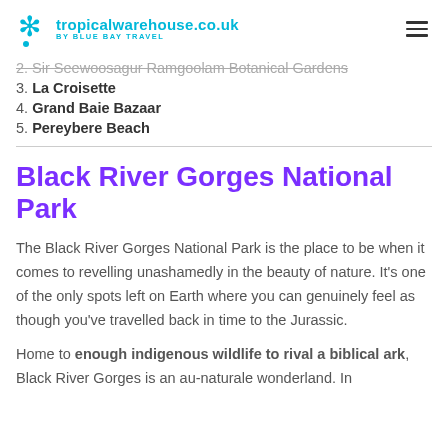tropicalwarehouse.co.uk BY BLUE BAY TRAVEL
2. Sir Seewoosagur Ramgoolam Botanical Gardens
3. La Croisette
4. Grand Baie Bazaar
5. Pereybere Beach
Black River Gorges National Park
The Black River Gorges National Park is the place to be when it comes to revelling unashamedly in the beauty of nature. It's one of the only spots left on Earth where you can genuinely feel as though you've travelled back in time to the Jurassic.
Home to enough indigenous wildlife to rival a biblical ark, Black River Gorges is an au-naturale wonderland. In